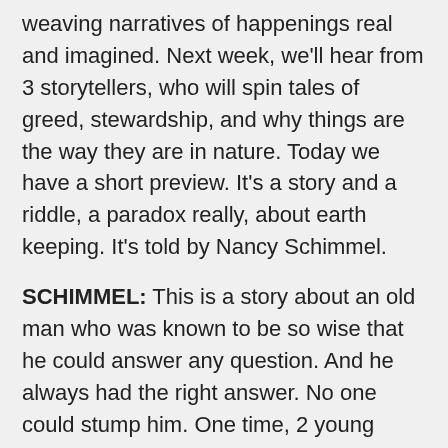weaving narratives of happenings real and imagined. Next week, we'll hear from 3 storytellers, who will spin tales of greed, stewardship, and why things are the way they are in nature. Today we have a short preview. It's a story and a riddle, a paradox really, about earth keeping. It's told by Nancy Schimmel.
SCHIMMEL: This is a story about an old man who was known to be so wise that he could answer any question. And he always had the right answer. No one could stump him. One time, 2 young people decided that they were going to stump that old man. They were going to ask him a question that he couldn't answer correctly.
"This is how we'll do it. We'll catch us a bird, and we'll go to that old man. We'll hold the bird in our hands, and we'll say: this that we have in our hands today: is it alive or is it dead? And if he says dead we'll let it go. But if he says